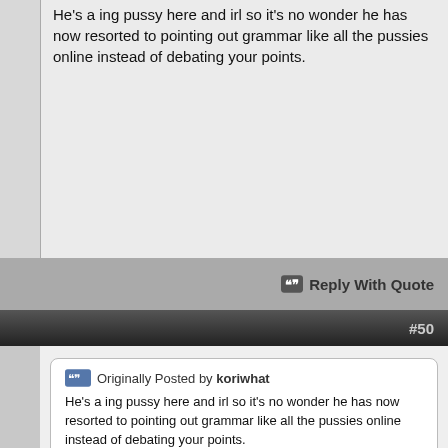He's a ing pussy here and irl so it's no wonder he has now resorted to pointing out grammar like all the pussies online instead of debating your points.
Reply With Quote
#50
Originally Posted by koriwhat
He's a ing pussy here and irl so it's no wonder he has now resorted to pointing out grammar like all the pussies online instead of debating your points.
He's someone who I triggered into joining the growing list of weak males following me around commenting on everything I say, in an attempt to "chump dump" me 😄